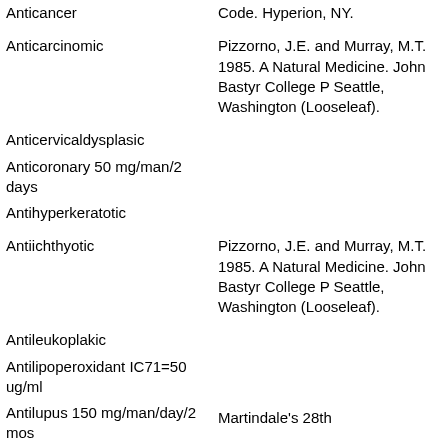| Activity/Term | Reference |
| --- | --- |
| Anticancer | Code. Hyperion, NY. |
| Anticarcinomic | Pizzorno, J.E. and Murray, M.T. 1985. A Natural Medicine. John Bastyr College P Seattle, Washington (Looseleaf). |
| Anticervicaldysplasic |  |
| Anticoronary 50 mg/man/2 days |  |
| Antihyperkeratotic |  |
| Antiichthyotic | Pizzorno, J.E. and Murray, M.T. 1985. A Natural Medicine. John Bastyr College P Seattle, Washington (Looseleaf). |
| Antileukoplakic |  |
| Antilipoperoxidant IC71=50 ug/ml |  |
| Antilupus 150 mg/man/day/2 mos | Martindale's 28th |
| Antimaculitic |  |
| Antimastitic | Pizzorno, J.E. and Murray, M.T. 1985. A Natural Medicine. John Bastyr College P Seattle, Washington (Looseleaf). |
| Antimutagenic | Economic & Medicinal Plant Research, |
| Antioxidant | Pizzorno, J.E. and Murray, M.T. 1985. A Natural Medicine. John Bastyr College P |